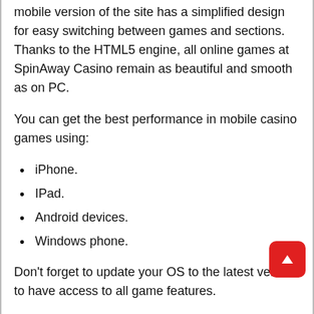mobile version of the site has a simplified design for easy switching between games and sections. Thanks to the HTML5 engine, all online games at SpinAway Casino remain as beautiful and smooth as on PC.
You can get the best performance in mobile casino games using:
iPhone.
IPad.
Android devices.
Windows phone.
Don’t forget to update your OS to the latest version to have access to all game features.
SPINAWAY SUPPORT
Professional customer support is essential for online